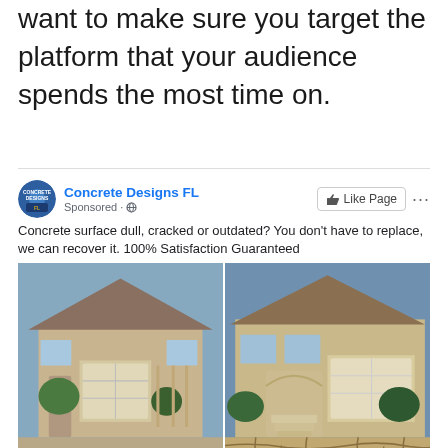want to make sure you target the platform that your audience spends the most time on.
[Figure (screenshot): Facebook sponsored ad from Concrete Designs FL showing a before and after comparison of a concrete driveway resurfacing project. The ad shows a house driveway before (old stained concrete) and after (decorative stamped concrete pattern). Ad text reads: 'Concrete surface dull, cracked or outdated? You don't have to replace, we can recover it. 100% Satisfaction Guaranteed'. Labels BEFORE and AFTER appear on the respective photos.]